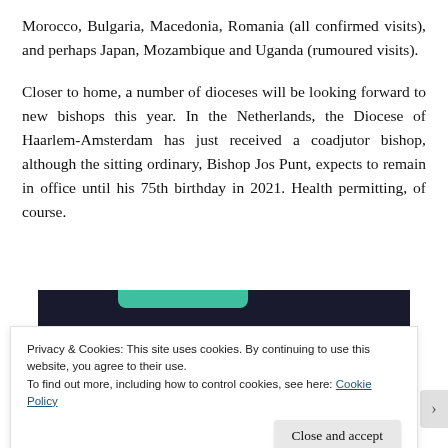Morocco, Bulgaria, Macedonia, Romania (all confirmed visits), and perhaps Japan, Mozambique and Uganda (rumoured visits).
Closer to home, a number of dioceses will be looking forward to new bishops this year. In the Netherlands, the Diocese of Haarlem-Amsterdam has just received a coadjutor bishop, although the sitting ordinary, Bishop Jos Punt, expects to remain in office until his 75th birthday in 2021. Health permitting, of course.
[Figure (photo): Dark banner image with teal accent element visible at the top]
Privacy & Cookies: This site uses cookies. By continuing to use this website, you agree to their use.
To find out more, including how to control cookies, see here: Cookie Policy